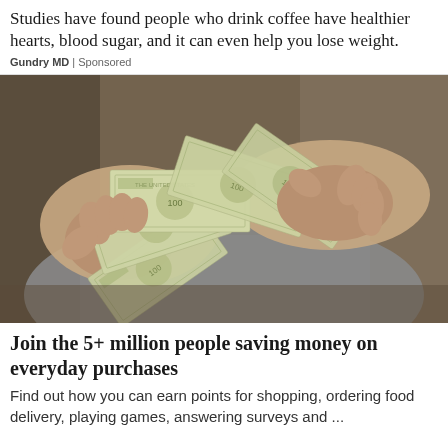Studies have found people who drink coffee have healthier hearts, blood sugar, and it can even help you lose weight.
Gundry MD | Sponsored
[Figure (photo): Close-up of two hands holding and fanning out several US $100 dollar bills against a blurred background.]
Join the 5+ million people saving money on everyday purchases
Find out how you can earn points for shopping, ordering food delivery, playing games, answering surveys and ...